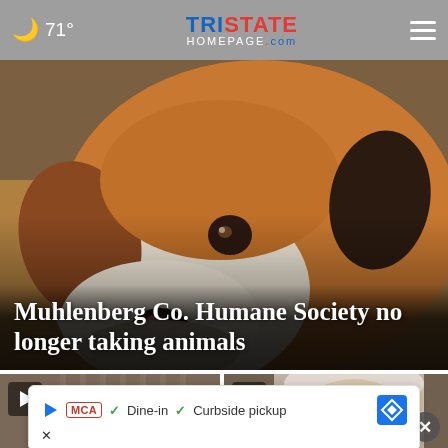71° — TristateHomepage.com
[Figure (photo): Close-up photo of a beagle dog with brown and white fur, looking toward the camera]
Muhlenberg Co. Humane Society no longer taking animals
[Figure (screenshot): Video thumbnail showing a building exterior, with play button overlay]
[Figure (photo): Photo of Mike Pence, a man with grey/white hair in a suit, with play button and close X button overlay]
[Figure (screenshot): Advertisement banner showing MCA badge with Dine-in and Curbside pickup text and navigation icon]